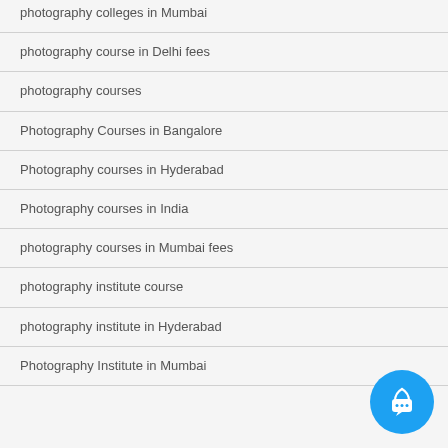photography colleges in Mumbai
photography course in Delhi fees
photography courses
Photography Courses in Bangalore
Photography courses in Hyderabad
Photography courses in India
photography courses in Mumbai fees
photography institute course
photography institute in Hyderabad
Photography Institute in Mumbai